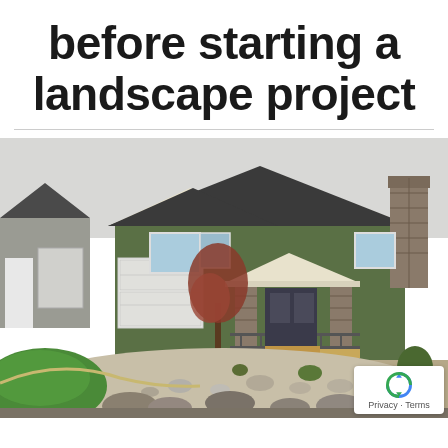before starting a landscape project
[Figure (photo): Exterior photo of a craftsman-style suburban home with green siding, stone pillars, covered front porch, attached garage, and xeriscaped front yard with rocks, gravel, small shrubs, and a curved green lawn area on the left. A reCAPTCHA badge appears in the bottom-right corner of the image.]
Privacy · Terms